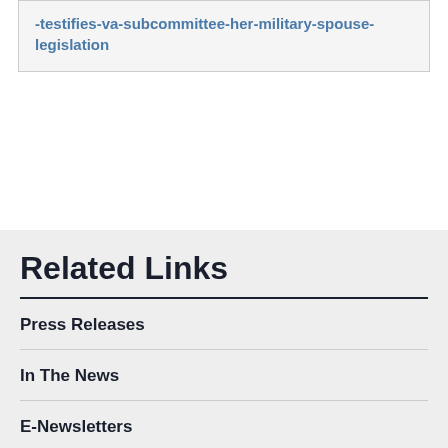-testifies-va-subcommittee-her-military-spouse-legislation
Related Links
Press Releases
In The News
E-Newsletters